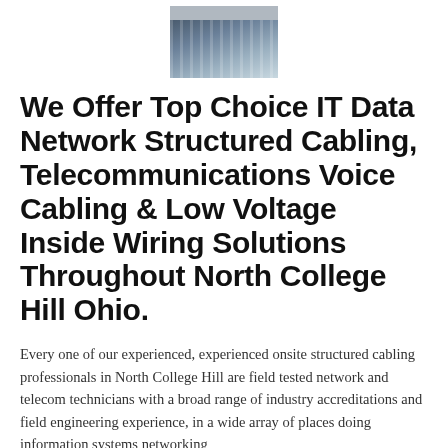[Figure (photo): Close-up photo of network cable patch panel or server rack with bundled white/grey cables]
We Offer Top Choice IT Data Network Structured Cabling, Telecommunications Voice Cabling & Low Voltage Inside Wiring Solutions Throughout North College Hill Ohio.
Every one of our experienced, experienced onsite structured cabling professionals in North College Hill are field tested network and telecom technicians with a broad range of industry accreditations and field engineering experience, in a wide array of places doing information systems networking